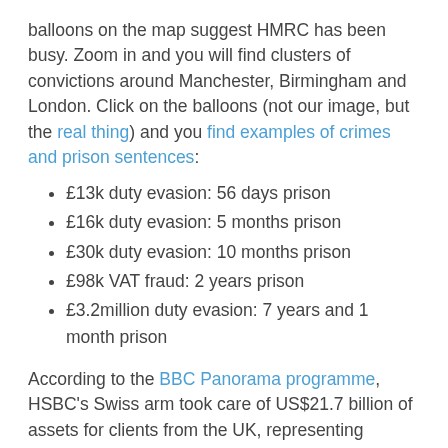balloons on the map suggest HMRC has been busy. Zoom in and you will find clusters of convictions around Manchester, Birmingham and London. Click on the balloons (not our image, but the real thing) and you find examples of crimes and prison sentences:
£13k duty evasion: 56 days prison
£16k duty evasion: 5 months prison
£30k duty evasion: 10 months prison
£98k VAT fraud: 2 years prison
£3.2million duty evasion: 7 years and 1 month prison
According to the BBC Panorama programme, HSBC's Swiss arm took care of US$21.7 billion of assets for clients from the UK, representing hundreds of millions in dodged taxes. I will leave the mathematicians among you to do the extrapolations